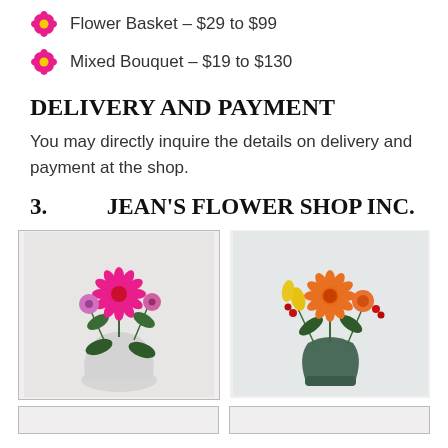Flower Basket – $29 to $99
Mixed Bouquet – $19 to $130
DELIVERY AND PAYMENT
You may directly inquire the details on delivery and payment at the shop.
3.   JEAN'S FLOWER SHOP INC.
[Figure (photo): Pink and magenta flower bouquet in a white round vase, featuring gerbera daisies, roses, and mixed flowers]
[Figure (photo): Orange and yellow autumn flower bouquet in a green textured vase, featuring gerbera daisies, lilies, and roses]